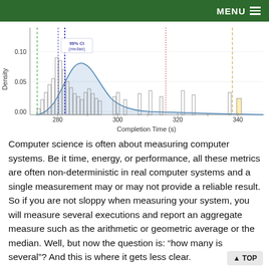MENU
[Figure (histogram): Histogram with density curve showing completion times from ~270 to ~340 seconds. Features vertical dashed lines (green, blue/median, red, orange). 99% CI (median) annotation shown. X-axis: 280, 300, 320, 340. Y-axis: 0.00, 0.05, 0.10.]
Computer science is often about measuring computer systems. Be it time, energy, or performance, all these metrics are often non-deterministic in real computer systems and a single measurement may or may not provide a reliable result. So if you are not sloppy when measuring your system, you will measure several executions and report an aggregate measure such as the arithmetic or geometric average or the median. Well, but now the question is: “how many is several”? And this is where it gets less clear.